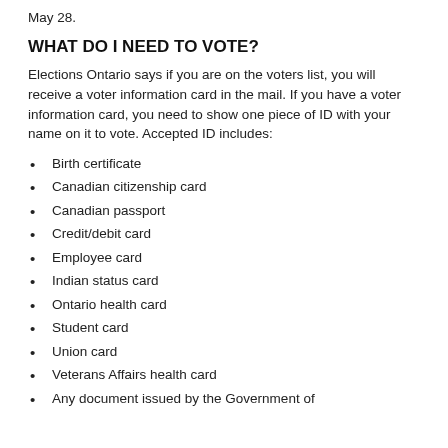May 28.
WHAT DO I NEED TO VOTE?
Elections Ontario says if you are on the voters list, you will receive a voter information card in the mail. If you have a voter information card, you need to show one piece of ID with your name on it to vote. Accepted ID includes:
Birth certificate
Canadian citizenship card
Canadian passport
Credit/debit card
Employee card
Indian status card
Ontario health card
Student card
Union card
Veterans Affairs health card
Any document issued by the Government of